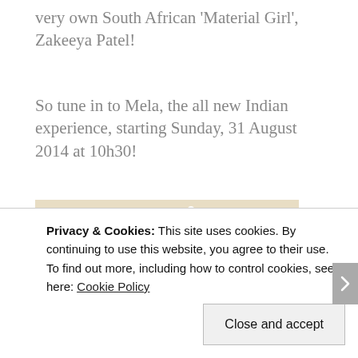very own South African ‘Material Girl’, Zakeeya Patel!
So tune in to Mela, the all new Indian experience, starting Sunday, 31 August 2014 at 10h30!
[Figure (photo): Indoor scene showing backs of people’s heads in a room with windows and an air conditioning unit on the wall]
Privacy & Cookies: This site uses cookies. By continuing to use this website, you agree to their use.
To find out more, including how to control cookies, see here: Cookie Policy
Close and accept